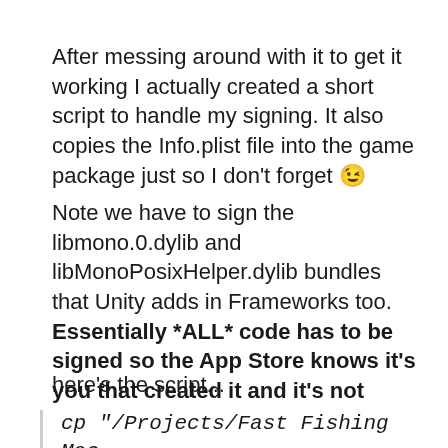After messing around with it to get it working I actually created a short script to handle my signing. It also copies the Info.plist file into the game package just so I don't forget 😉
Note we have to sign the libmono.0.dylib and libMonoPosixHelper.dylib bundles that Unity adds in Frameworks too. Essentially *ALL* code has to be signed so the App Store knows it's you that created it and it's not been bolted on later by anyone with naughty intentions.
here's the script...
cp "/Projects/Fast Fishing Mac